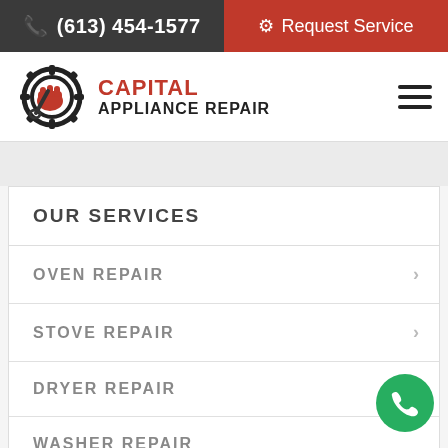(613) 454-1577 | Request Service
[Figure (logo): Capital Appliance Repair logo with wrench and fist inside gear]
OUR SERVICES
OVEN REPAIR
STOVE REPAIR
DRYER REPAIR
WASHER REPAIR